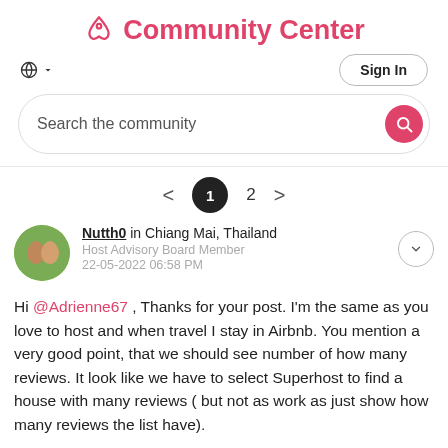Community Center
Sign In
Search the community
1  2
Nutth0 in Chiang Mai, Thailand
Host Advisory Board Member
22-05-2022 06:58 PM
Hi @Adrienne67 , Thanks for your post. I'm the same as you love to host and when travel I stay in Airbnb. You mention a very good point, that we should see number of how many reviews. It look like we have to select Superhost to find a house with many reviews ( but not as work as just show how many reviews the list have).